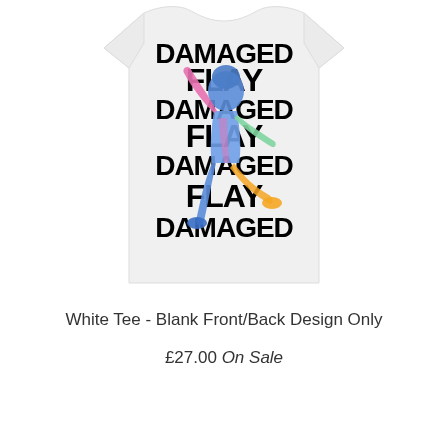[Figure (photo): White t-shirt displayed from the back showing a graphic design with the words DAMAGED and FLAY repeated in large bold black text, with a colorful thermal-image style figure of a jumping/dancing person overlaid on the text.]
White Tee - Blank Front/Back Design Only
£27.00 On Sale